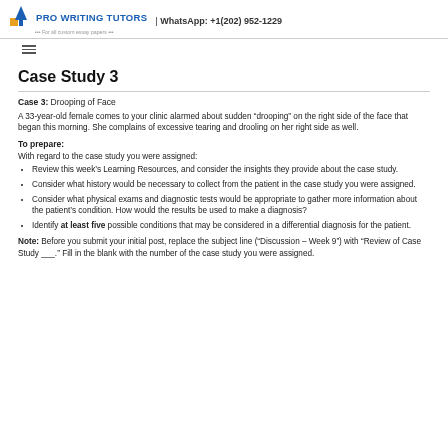PRO WRITING TUTORS | WhatsApp: +1(202) 952-1229
Case Study 3
Case 3: Drooping of Face
A 33-year-old female comes to your clinic alarmed about sudden “drooping” on the right side of the face that began this morning. She complains of excessive tearing and drooling on her right side as well.
To prepare:
With regard to the case study you were assigned:
Review this week’s Learning Resources, and consider the insights they provide about the case study.
Consider what history would be necessary to collect from the patient in the case study you were assigned.
Consider what physical exams and diagnostic tests would be appropriate to gather more information about the patient’s condition. How would the results be used to make a diagnosis?
Identify at least five possible conditions that may be considered in a differential diagnosis for the patient.
Note: Before you submit your initial post, replace the subject line (“Discussion – Week 9”) with “Review of Case Study ___.” Fill in the blank with the number of the case study you were assigned.